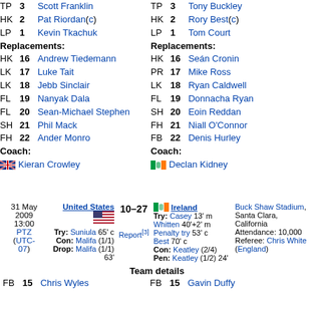TP 3 Scott Franklin
HK 2 Pat Riordan (c)
LP 1 Kevin Tkachuk
Replacements:
HK 16 Andrew Tiedemann
LK 17 Luke Tait
LK 18 Jebb Sinclair
FL 19 Nanyak Dala
FL 20 Sean-Michael Stephen
SH 21 Phil Mack
FH 22 Ander Monro
Coach:
Kieran Crowley
TP 3 Tony Buckley
HK 2 Rory Best (c)
LP 1 Tom Court
Replacements:
HK 16 Seán Cronin
PR 17 Mike Ross
LK 18 Ryan Caldwell
FL 19 Donnacha Ryan
SH 20 Eoin Reddan
FH 21 Niall O'Connor
FB 22 Denis Hurley
Coach:
Declan Kidney
| Date/Time | Home | Score | Report | Away | Venue |
| --- | --- | --- | --- | --- | --- |
| 31 May 2009 13:00 PTZ (UTC-07) | United States | 10–27 | Report[3] | Ireland | Buck Shaw Stadium, Santa Clara, California Attendance: 10,000 Referee: Chris White (England) |
Team details
FB 15 Chris White ... FB 15 Gavin Duffy